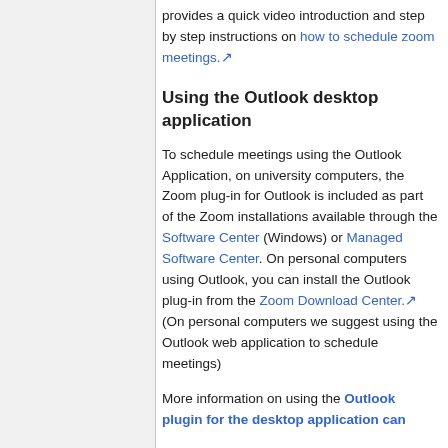provides a quick video introduction and step by step instructions on how to schedule zoom meetings.
Using the Outlook desktop application
To schedule meetings using the Outlook Application, on university computers, the Zoom plug-in for Outlook is included as part of the Zoom installations available through the Software Center (Windows) or Managed Software Center. On personal computers using Outlook, you can install the Outlook plug-in from the Zoom Download Center. (On personal computers we suggest using the Outlook web application to schedule meetings)
More information on using the Outlook plugin for the desktop application can